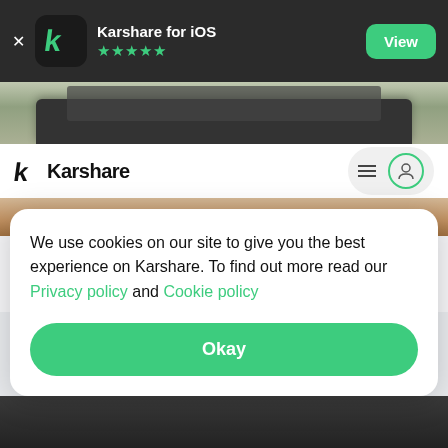Karshare for iOS ★★★★★ View
[Figure (screenshot): Karshare app navigation bar with logo and user icon]
Grant's
★ 4.7
VOLKSWAGEN GOLF
We use cookies on our site to give you the best experience on Karshare. To find out more read our Privacy policy and Cookie policy
Okay